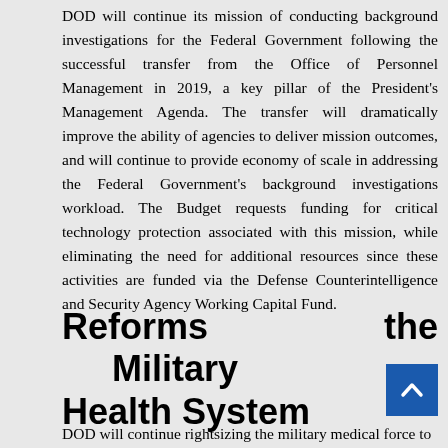DOD will continue its mission of conducting background investigations for the Federal Government following the successful transfer from the Office of Personnel Management in 2019, a key pillar of the President's Management Agenda. The transfer will dramatically improve the ability of agencies to deliver mission outcomes, and will continue to provide economy of scale in addressing the Federal Government's background investigations workload. The Budget requests funding for critical technology protection associated with this mission, while eliminating the need for additional resources since these activities are funded via the Defense Counterintelligence and Security Agency Working Capital Fund.
Reforms the Military Health System
DOD will continue rightsizing the military medical force to